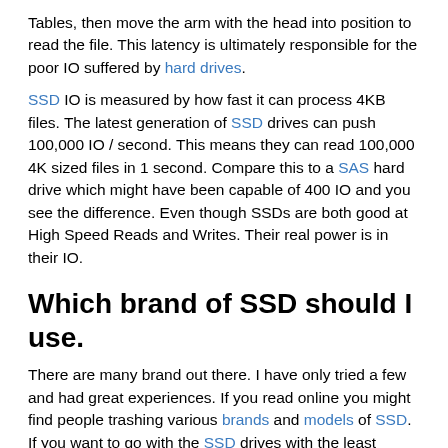Tables, then move the arm with the head into position to read the file. This latency is ultimately responsible for the poor IO suffered by hard drives.
SSD IO is measured by how fast it can process 4KB files. The latest generation of SSD drives can push 100,000 IO / second. This means they can read 100,000 4K sized files in 1 second. Compare this to a SAS hard drive which might have been capable of 400 IO and you see the difference. Even though SSDs are both good at High Speed Reads and Writes. Their real power is in their IO.
Which brand of SSD should I use.
There are many brand out there. I have only tried a few and had great experiences. If you read online you might find people trashing various brands and models of SSD. If you want to go with the SSD drives with the least amount of consumers bitching, and best track record you want to go with Samsung SSD drives. They might cost a little more, but they are reliable.